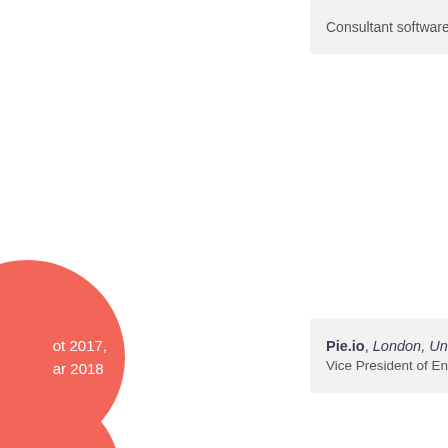Consultant software en
ot 2017, ar 2018
Pie.io, London, United — Vice President of Engin